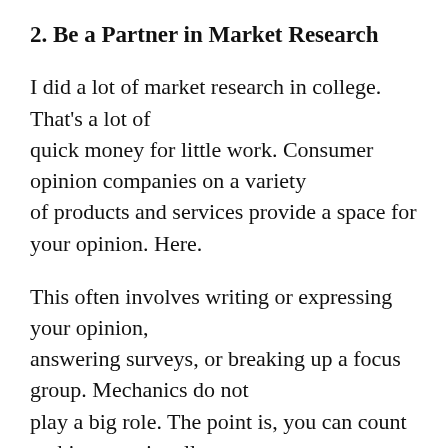2. Be a Partner in Market Research
I did a lot of market research in college. That's a lot of quick money for little work. Consumer opinion companies on a variety of products and services provide a space for your opinion. Here.
This often involves writing or expressing your opinion, answering surveys, or breaking up a focus group. Mechanics do not play a big role. The point is, you can count on him occasionally.
3. Sell Old Books and Games on Amazon
Amazon makes it easy to list and sell used books, games and gadgets on its marketplace. You can make more than a few dollars if you have expensive textbooks. Make sure the books